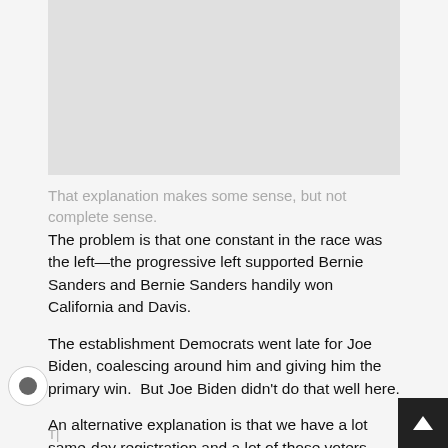[Figure (photo): Gray placeholder image rectangle at top of page]
That explanation makes some sense, but not complete sense.
The problem is that one constant in the race was the left—the progressive left supported Bernie Sanders and Bernie Sanders handily won California and Davis.
The establishment Democrats went late for Joe Biden, coalescing around him and giving him the primary win.  But Joe Biden didn't do that well here.
An alternative explanation is that we have a lot same-day registration and a lot of those voters—students—voted for Bernie Sanders.  They also—and you can see it in the precincts around the university—overwhelmingly supported Measure G.
But we had a lot of reports that even in non-student precincts, people made up their minds late and brought their absentees to the polling place where they had to be counted late.